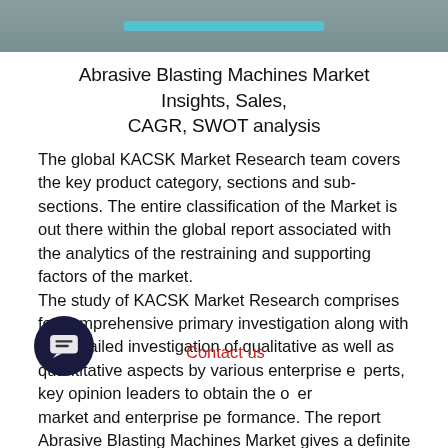[Figure (illustration): Top banner image with teal/grey gradient background and a horizontal teal bar element]
Abrasive Blasting Machines Market Insights, Sales, CAGR, SWOT analysis
The global KACSK Market Research team covers the key product category, sections and sub-sections. The entire classification of the Market is out there within the global report associated with the analytics of the restraining and supporting factors of the market. The study of KACSK Market Research comprises for comprehensive primary investigation along with the detailed investigation of qualitative as well as quantitative aspects by various enterprise experts, key opinion leaders to obtain the overall market and enterprise performance. The report Abrasive Blasting Machines Market gives a definite perception of